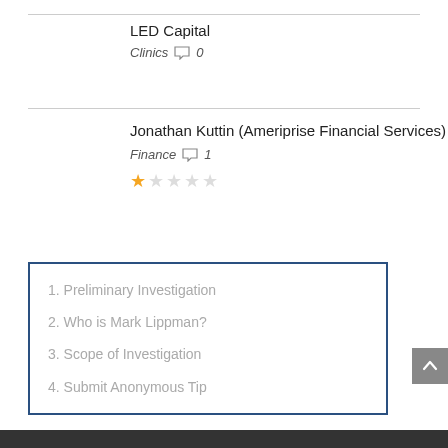LED Capital
Clinics  0
Jonathan Kuttin (Ameriprise Financial Services)
Finance  1
[Figure (other): Star rating: 1 out of 5 stars]
1. Preliminary Investigation
2. Who is Mark Lippman?
3. Scope of Investigation
4. Submit Anonymous Tip